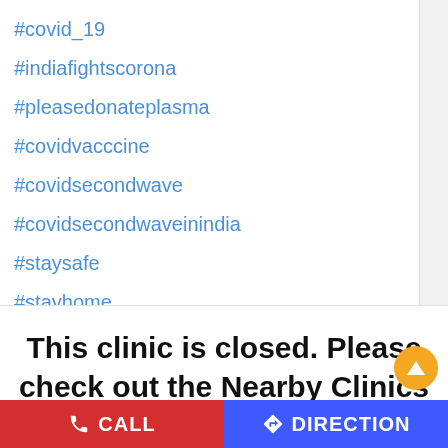#covid_19
#indiafightscorona
#pleasedonateplasma
#covidvacccine
#covidsecondwave
#covidsecondwaveinindia
#staysafe
#stayhome
This clinic is closed. Please check out the Nearby Clinics below
#mehakdhawan
#drgarimasawhney
#pristyncare
CALL  DIRECTION